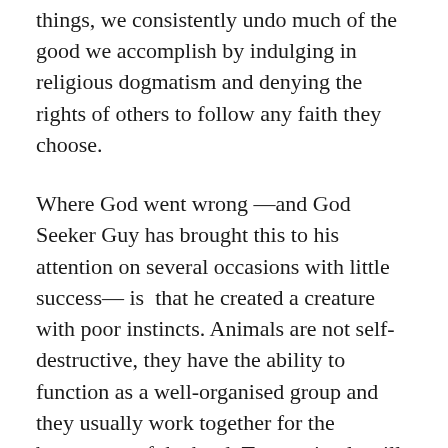things, we consistently undo much of the good we accomplish by indulging in religious dogmatism and denying the rights of others to follow any faith they choose.
Where God went wrong —and God Seeker Guy has brought this to his attention on several occasions with little success— is that he created a creature with poor instincts. Animals are not self-destructive, they have the ability to function as a well-organised group and they usually work together for the betterment of the herd. True, animals will kill each other on occasion, but most don't destroy members of their own group, although the odd lion will kill the young of a newly acquired female, a policy humans have avoided so far.
God immediately realised his mistake in tinkering with